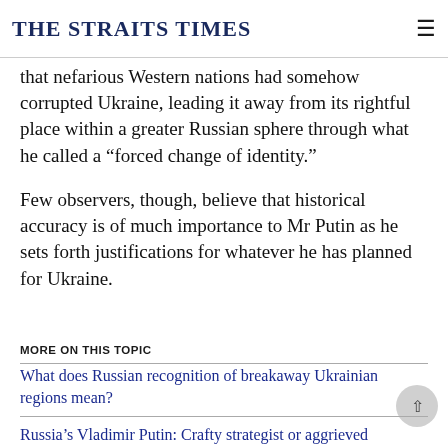THE STRAITS TIMES
that nefarious Western nations had somehow corrupted Ukraine, leading it away from its rightful place within a greater Russian sphere through what he called a "forced change of identity."
Few observers, though, believe that historical accuracy is of much importance to Mr Putin as he sets forth justifications for whatever he has planned for Ukraine.
MORE ON THIS TOPIC
What does Russian recognition of breakaway Ukrainian regions mean?
Russia's Vladimir Putin: Crafty strategist or aggrieved